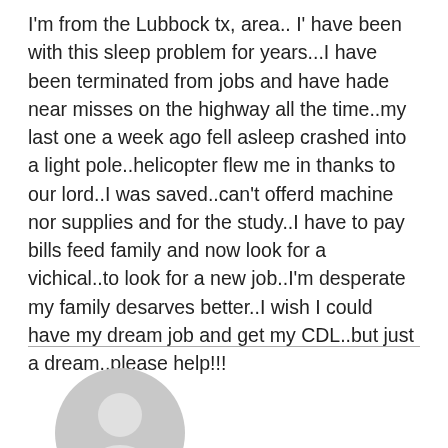I'm from the Lubbock tx, area.. I' have been with this sleep problem for years...I have been terminated from jobs and have hade near misses on the highway all the time..my last one a week ago fell asleep crashed into a light pole..helicopter flew me in thanks to our lord..I was saved..can't offerd machine nor supplies and for the study..I have to pay bills feed family and now look for a vichical..to look for a new job..I'm desperate my family desarves better..I wish I could have my dream job and get my CDL..but just a dream..please help!!!
[Figure (illustration): Generic grey user avatar icon showing a silhouette of a person (head and shoulders)]